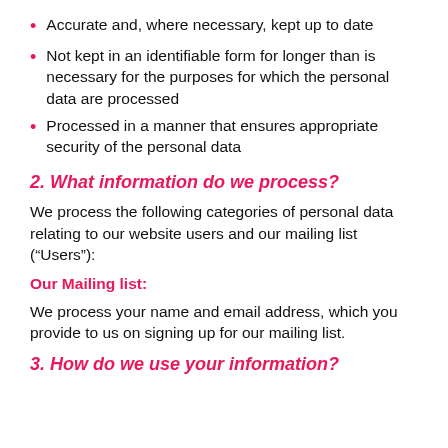Accurate and, where necessary, kept up to date
Not kept in an identifiable form for longer than is necessary for the purposes for which the personal data are processed
Processed in a manner that ensures appropriate security of the personal data
2. What information do we process?
We process the following categories of personal data relating to our website users and our mailing list (“Users”):
Our Mailing list:
We process your name and email address, which you provide to us on signing up for our mailing list.
3. How do we use your information?